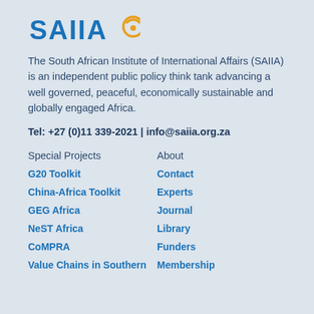[Figure (logo): SAIIA logo with stylized text and circular emblem]
The South African Institute of International Affairs (SAIIA) is an independent public policy think tank advancing a well governed, peaceful, economically sustainable and globally engaged Africa.
Tel: +27 (0)11 339-2021 | info@saiia.org.za
Special Projects
About
G20 Toolkit
Contact
China-Africa Toolkit
Experts
GEG Africa
Journal
NeST Africa
Library
CoMPRA
Funders
Value Chains in Southern
Membership